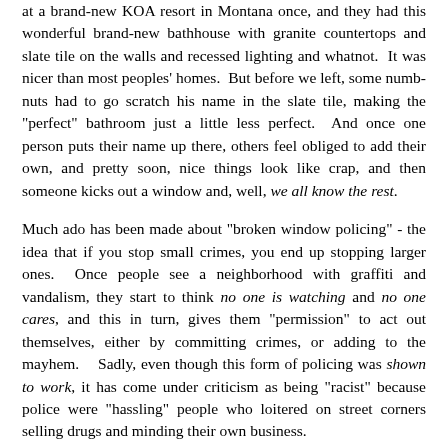at a brand-new KOA resort in Montana once, and they had this wonderful brand-new bathhouse with granite countertops and slate tile on the walls and recessed lighting and whatnot. It was nicer than most peoples' homes. But before we left, some numb-nuts had to go scratch his name in the slate tile, making the "perfect" bathroom just a little less perfect. And once one person puts their name up there, others feel obliged to add their own, and pretty soon, nice things look like crap, and then someone kicks out a window and, well, we all know the rest.
Much ado has been made about "broken window policing" - the idea that if you stop small crimes, you end up stopping larger ones. Once people see a neighborhood with graffiti and vandalism, they start to think no one is watching and no one cares, and this in turn, gives them "permission" to act out themselves, either by committing crimes, or adding to the mayhem. Sadly, even though this form of policing was shown to work, it has come under criticism as being "racist" because police were "hassling" people who loitered on street corners selling drugs and minding their own business.
Funny thing that - when you chase the drug dealers out of a